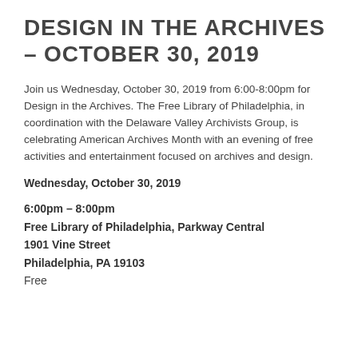DESIGN IN THE ARCHIVES – OCTOBER 30, 2019
Join us Wednesday, October 30, 2019 from 6:00-8:00pm for Design in the Archives. The Free Library of Philadelphia, in coordination with the Delaware Valley Archivists Group, is celebrating American Archives Month with an evening of free activities and entertainment focused on archives and design.
Wednesday, October 30, 2019
6:00pm – 8:00pm
Free Library of Philadelphia, Parkway Central
1901 Vine Street
Philadelphia, PA 19103
Free